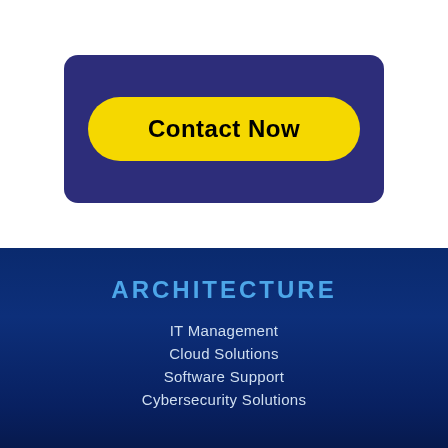[Figure (other): Dark navy rounded rectangle card with a yellow pill-shaped button labeled 'Contact Now' in bold black text]
ARCHITECTURE
IT Management
Cloud Solutions
Software Support
Cybersecurity Solutions